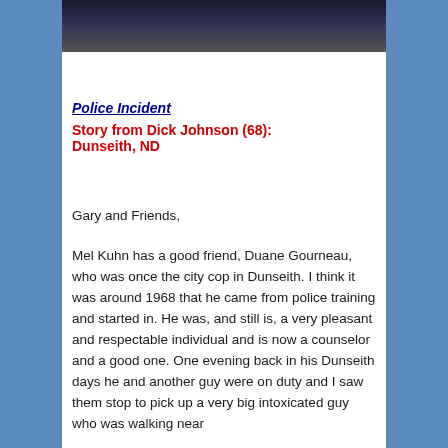[Figure (photo): Partial photo of a person wearing dark clothing, cropped at the top of the page]
Police Incident
Story from Dick Johnson (68): Dunseith, ND
Gary and Friends,
Mel Kuhn has a good friend, Duane Gourneau, who was once the city cop in Dunseith. I think it was around 1968 that he came from police training and started in. He was, and still is, a very pleasant and respectable individual and is now a counselor and a good one. One evening back in his Dunseith days he and another guy were on duty and I saw them stop to pick up a very big intoxicated guy who was walking near